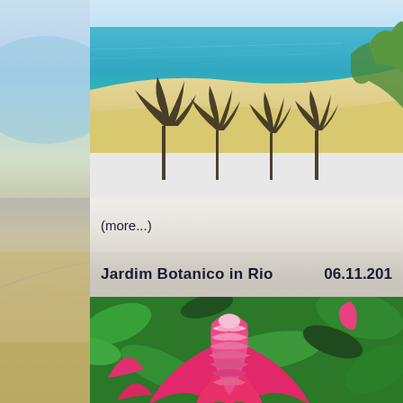[Figure (photo): Aerial view of a tropical beach with turquoise water, sandy shore, and bare trees in the foreground with green tropical vegetation]
(more...)
Jardim Botanico in Rio   06.11.201
[Figure (photo): Close-up of a pink tropical flower (torch ginger or bromeliad) with green leaves in the background, photographed at Jardim Botanico in Rio]
[Figure (photo): Left sidebar showing beach and sandy shore scenes]